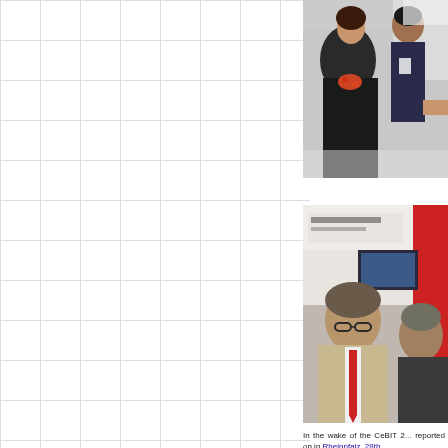[Figure (photo): Photo of people at CeBIT trade show, woman in foreground with dark jacket and patterned top, man in suit behind her]
[Figure (photo): Photo of two men looking at a screen at a trade show booth, one in tan suit with red tie]
In the wake of the CeBIT 2015, reported on in Rheinpfalz, 28th March 2015.
In the next steps of the work ...